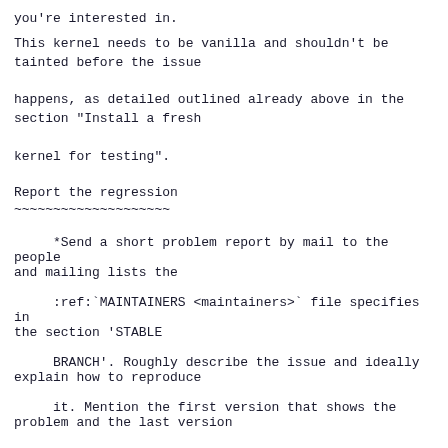you're interested in.
This kernel needs to be vanilla and shouldn't be
tainted before the issue

happens, as detailed outlined already above in the
section "Install a fresh

kernel for testing".
Report the regression
~~~~~~~~~~~~~~~~~~~~
*Send a short problem report by mail to the people
and mailing lists the

     :ref:`MAINTAINERS <maintainers>` file specifies in
the section 'STABLE

     BRANCH'. Roughly describe the issue and ideally
explain how to reproduce

     it. Mention the first version that shows the
problem and the last version